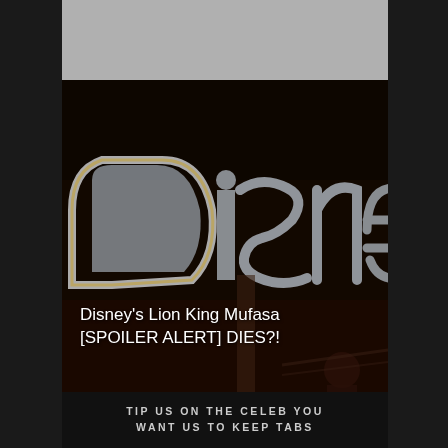[Figure (photo): A dark photograph showing the Disney logo signage with large stylized letters, dimly lit at night, with a person partially visible in the lower right]
Disney's Lion King Mufasa [SPOILER ALERT] DIES?!
TIP US ON THE CELEB YOU WANT US TO KEEP TABS